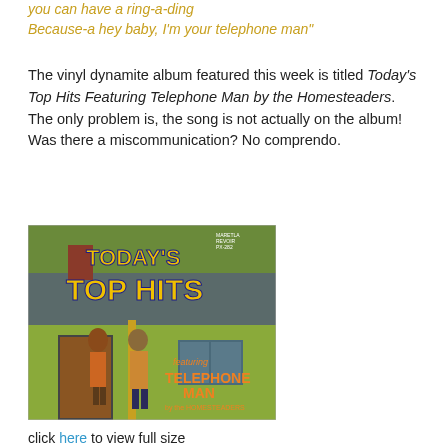you can have a ring-a-ding
Because-a hey baby, I'm your telephone man"
The vinyl dynamite album featured this week is titled Today's Top Hits Featuring Telephone Man by the Homesteaders. The only problem is, the song is not actually on the album! Was there a miscommunication? No comprendo.
[Figure (photo): Album cover of 'Today's Top Hits featuring Telephone Man by the Homesteaders' showing a house exterior with two people standing in a doorway, with bold yellow and blue text.]
click here to view full size
The something-fuller for some reason the bottom of the page will